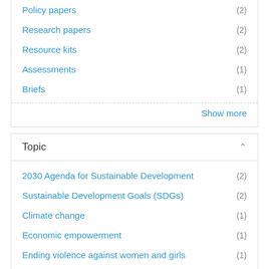Policy papers (2)
Research papers (2)
Resource kits (2)
Assessments (1)
Briefs (1)
Show more
Topic
2030 Agenda for Sustainable Development (2)
Sustainable Development Goals (SDGs) (2)
Climate change (1)
Economic empowerment (1)
Ending violence against women and girls (1)
Environmental protection (1)
Gender equality and women's empowerment (1)
Gender mainstreaming (1)